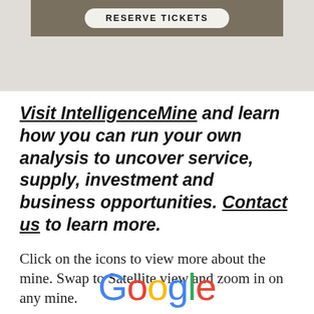[Figure (screenshot): Banner image area with a dark brownish-gray background and a 'RESERVE TICKETS' button in a rounded rectangle]
Visit IntelligenceMine and learn how you can run your own analysis to uncover service, supply, investment and business opportunities. Contact us to learn more.
Click on the icons to view more about the mine. Swap to Satellite view and zoom in on any mine.
[Figure (logo): Google logo in multicolor text]